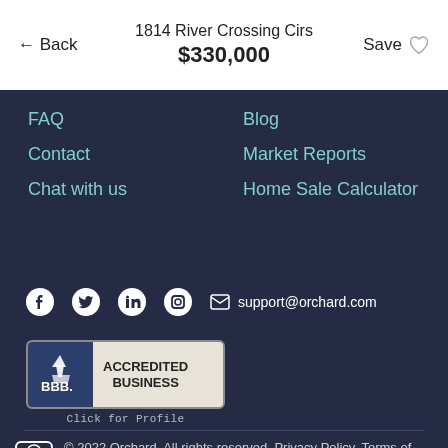1814 River Crossing Cirs
$330,000
FAQ
Blog
Contact
Market Reports
Chat with us
Home Sale Calculator
support@orchard.com
[Figure (logo): BBB Accredited Business badge with Click for Profile text]
© 2022 Orchard. All rights reserved. Privacy Policy, Terms of Use, Affiliated Business Arrangement Disclosure, About Our Ads TREC: Info About Brokerage Services,